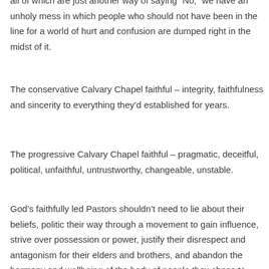all of which are just another way of saying 'No,' we have an unholy mess in which people who should not have been in the line for a world of hurt and confusion are dumped right in the midst of it.
The conservative Calvary Chapel faithful – integrity, faithfulness and sincerity to everything they'd established for years.
The progressive Calvary Chapel faithful – pragmatic, deceitful, political, unfaithful, untrustworthy, changeable, unstable.
God's faithfully led Pastors shouldn't need to lie about their beliefs, politic their way through a movement to gain influence, strive over possession or power, justify their disrespect and antagonism for their elders and brothers, and abandon the harmony and wellbeing of the body of people they chose to marry themselves to in pursuit of a younger, more glamorous model.